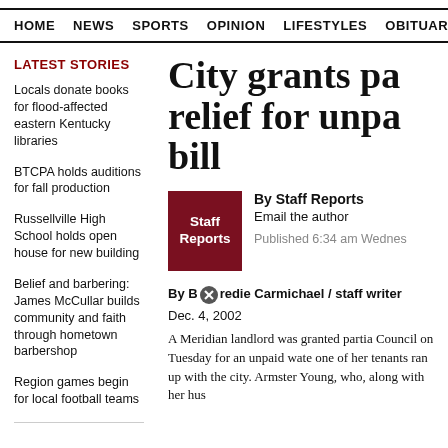HOME  NEWS  SPORTS  OPINION  LIFESTYLES  OBITUARIES
LATEST STORIES
Locals donate books for flood-affected eastern Kentucky libraries
BTCPA holds auditions for fall production
Russellville High School holds open house for new building
Belief and barbering: James McCullar builds community and faith through hometown barbershop
Region games begin for local football teams
City grants pa relief for unpa bill
By Staff Reports
Email the author
Published 6:34 am Wednes
By Bredie Carmichael / staff writer
Dec. 4, 2002
A Meridian landlord was granted partia Council on Tuesday for an unpaid wate one of her tenants ran up with the city. Armster Young, who, along with her hus